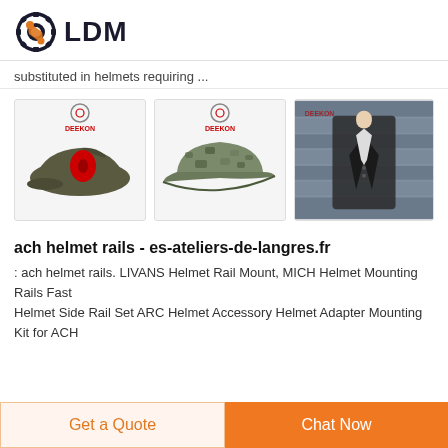[Figure (logo): LDM logo with gear icon in dark blue and orange wrench]
substituted in helmets requiring ...
[Figure (photo): Three product images: military beret with red badge (DEEKON brand), camouflage baseball cap (DEEKON brand), and dark suit jacket on mannequin with folded fabric (DEEKON brand)]
ach helmet rails - es-ateliers-de-langres.fr
: ach helmet rails. LIVANS Helmet Rail Mount, MICH Helmet Mounting Rails Fast Helmet Side Rail Set ARC Helmet Accessory Helmet Adapter Mounting Kit for ACH